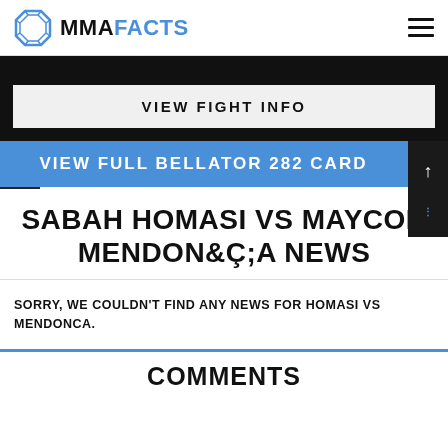MMAFACTS
VIEW FIGHT INFO
VIEW FULL BELLATOR 282 CARD
SABAH HOMASI VS MAYCON MENDONÇA NEWS
SORRY, WE COULDN'T FIND ANY NEWS FOR HOMASI VS MENDONCA.
COMMENTS